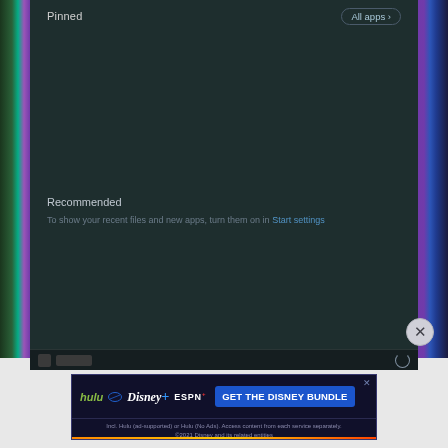[Figure (screenshot): Windows 11 Start menu screenshot showing Pinned section header with 'All apps >' button, empty pinned apps area, Recommended section with label and text 'To show your recent files and new apps, turn them on in Start settings'. Below is a partial taskbar. A circular close button (X) is visible in bottom right. Below the screenshot is a Disney Bundle advertisement banner showing Hulu, Disney+, ESPN+ logos and 'GET THE DISNEY BUNDLE' button with fine print text.]
Pinned
All apps ›
Recommended
To show your recent files and new apps, turn them on in Start settings
[Figure (screenshot): Disney Bundle advertisement: Hulu, Disney+, ESPN+ logos on left, 'GET THE DISNEY BUNDLE' blue button on right. Fine print: 'Incl. Hulu (ad-supported) or Hulu (No Ads). Access content from each service separately. ©2021 Disney and its related entities']